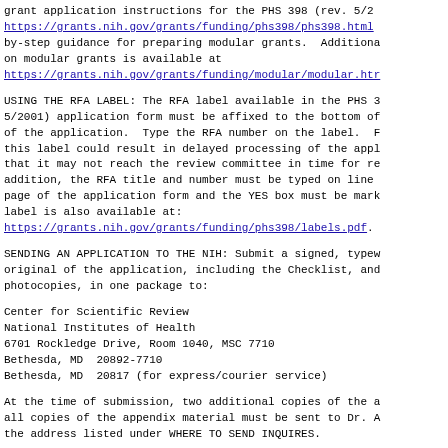grant application instructions for the PHS 398 (rev. 5/2 https://grants.nih.gov/grants/funding/phs398/phs398.html by-step guidance for preparing modular grants. Additiona on modular grants is available at https://grants.nih.gov/grants/funding/modular/modular.htm
USING THE RFA LABEL: The RFA label available in the PHS 3 5/2001) application form must be affixed to the bottom of of the application. Type the RFA number on the label. F this label could result in delayed processing of the appl that it may not reach the review committee in time for re addition, the RFA title and number must be typed on line page of the application form and the YES box must be mark label is also available at: https://grants.nih.gov/grants/funding/phs398/labels.pdf.
SENDING AN APPLICATION TO THE NIH: Submit a signed, typew original of the application, including the Checklist, and photocopies, in one package to:
Center for Scientific Review
National Institutes of Health
6701 Rockledge Drive, Room 1040, MSC 7710
Bethesda, MD  20892-7710
Bethesda, MD  20817 (for express/courier service)
At the time of submission, two additional copies of the a all copies of the appendix material must be sent to Dr. A the address listed under WHERE TO SEND INQUIRES.